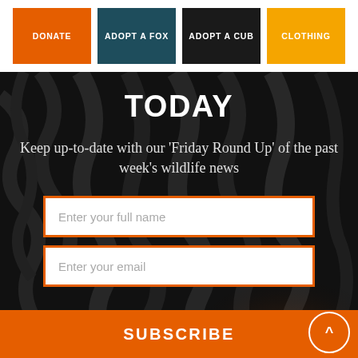DONATE
ADOPT A FOX
ADOPT A CUB
CLOTHING
TODAY
Keep up-to-date with our 'Friday Round Up' of the past week's wildlife news
Enter your full name
Enter your email
SUBSCRIBE